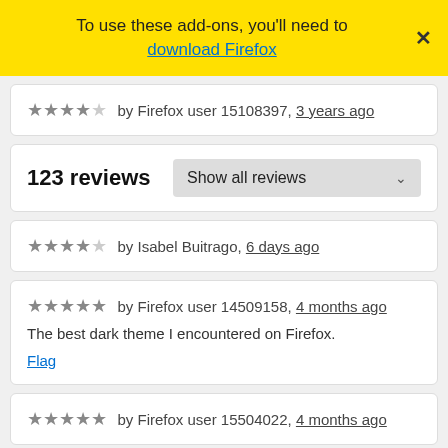To use these add-ons, you'll need to download Firefox
★★★★☆ by Firefox user 15108397, 3 years ago
123 reviews
Show all reviews
★★★★☆ by Isabel Buitrago, 6 days ago
★★★★★ by Firefox user 14509158, 4 months ago
The best dark theme I encountered on Firefox.
Flag
★★★★★ by Firefox user 15504022, 4 months ago